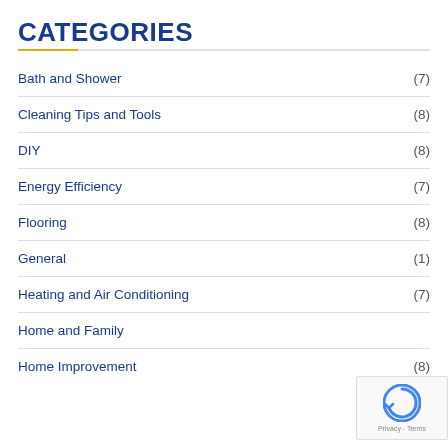CATEGORIES
Bath and Shower (7)
Cleaning Tips and Tools (8)
DIY (8)
Energy Efficiency (7)
Flooring (8)
General (1)
Heating and Air Conditioning (7)
Home and Family
Home Improvement (8)